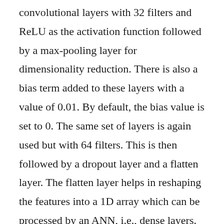convolutional layers with 32 filters and ReLU as the activation function followed by a max-pooling layer for dimensionality reduction. There is also a bias term added to these layers with a value of 0.01. By default, the bias value is set to 0. The same set of layers is again used but with 64 filters. This is then followed by a dropout layer and a flatten layer. The flatten layer helps in reshaping the features into a 1D array which can be processed by an ANN, i.e., dense layers. The ANN part consists of 2 layers, with 256 and 128 neurons respectively, and ReLU as the activation function. This is then followed by an output layer with 10 neurons as there are 10 different classes